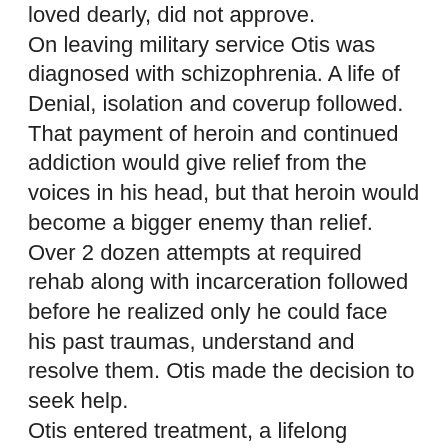loved dearly, did not approve. On leaving military service Otis was diagnosed with schizophrenia. A life of Denial, isolation and coverup followed. That payment of heroin and continued addiction would give relief from the voices in his head, but that heroin would become a bigger enemy than relief. Over 2 dozen attempts at required rehab along with incarceration followed before he realized only he could face his past traumas, understand and resolve them. Otis made the decision to seek help. Otis entered treatment, a lifelong commitment to redemption. Listen now to Otis share how this decision has taken him to a new recognition of the human spirit beyond his own. Through his work with Dryhootch Otis shares how he changed those values in his "God-box" and